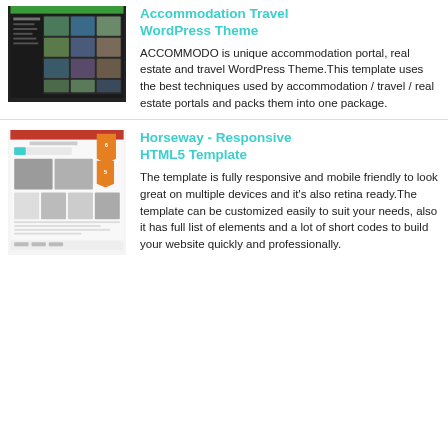[Figure (screenshot): Screenshot of Accommodation Travel WordPress Theme — dark themed portal with travel/real estate images]
Accommodation Travel WordPress Theme
ACCOMMODO is unique accommodation portal, real estate and travel WordPress Theme.This template uses the best techniques used by accommodation / travel / real estate portals and packs them into one package.
[Figure (screenshot): Screenshot of Horseway Responsive HTML5 Template — shopping hub with colorful product grid and people images]
Horseway - Responsive HTML5 Template
The template is fully responsive and mobile friendly to look great on multiple devices and it's also retina ready.The template can be customized easily to suit your needs, also it has full list of elements and a lot of short codes to build your website quickly and professionally.